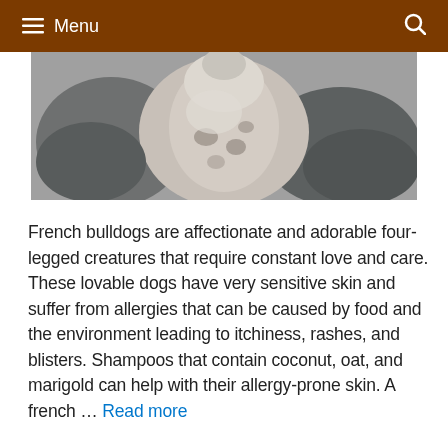≡ Menu
[Figure (photo): A person in a grey hoodie holding up a dog's paw, showing the underside of the paw which has some skin markings or spots visible.]
French bulldogs are affectionate and adorable four-legged creatures that require constant love and care. These lovable dogs have very sensitive skin and suffer from allergies that can be caused by food and the environment leading to itchiness, rashes, and blisters. Shampoos that contain coconut, oat, and marigold can help with their allergy-prone skin. A french … Read more